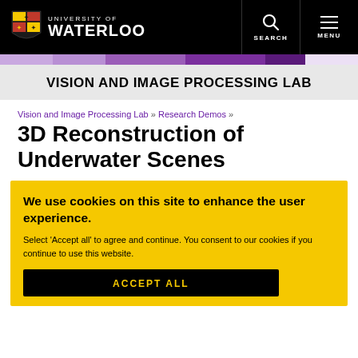[Figure (logo): University of Waterloo logo with shield crest and text]
UNIVERSITY OF WATERLOO — SEARCH — MENU
VISION AND IMAGE PROCESSING LAB
Vision and Image Processing Lab » Research Demos »
3D Reconstruction of Underwater Scenes
We use cookies on this site to enhance the user experience.
Select 'Accept all' to agree and continue. You consent to our cookies if you continue to use this website.
ACCEPT ALL